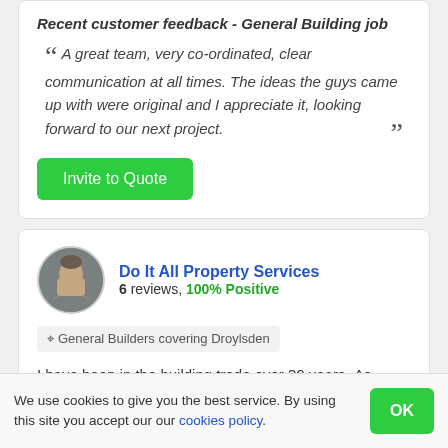Recent customer feedback - General Building job
A great team, very co-ordinated, clear communication at all times. The ideas the guys came up with were original and I appreciate it, looking forward to our next project.
Invite to Quote
Do It All Property Services
6 reviews, 100% Positive
General Builders covering Droylsden
I have been in the building trade over 30 years .As
We use cookies to give you the best service. By using this site you accept our our cookies policy.